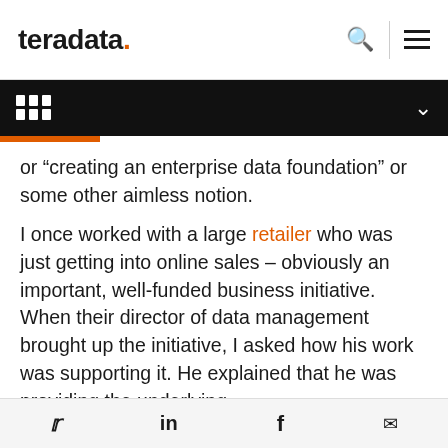teradata.
or “creating an enterprise data foundation” or some other aimless notion.
I once worked with a large retailer who was just getting into online sales – obviously an important, well-funded business initiative. When their director of data management brought up the initiative, I asked how his work was supporting it. He explained that he was providing the underlying
Twitter LinkedIn Facebook Email